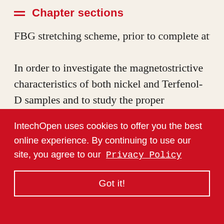Chapter sections
FBG stretching scheme, prior to complete attachment
In order to investigate the magnetostrictive characteristics of both nickel and Terfenol-D samples and to study the proper attachment of both gratings over these rods, a coil was constructed, enabling the excitation of the opto-mechanical transducers with DC current, thus DC magnetic fields. Therefore, the testing system consists in a driving circuit and an exciting coil, fed with DC ... heme for the
IntechOpen uses cookies to offer you the best online experience. By continuing to use our site, you agree to our Privacy Policy
Got it!
n the core of the exciting coil (Figure ...) which is mechanically